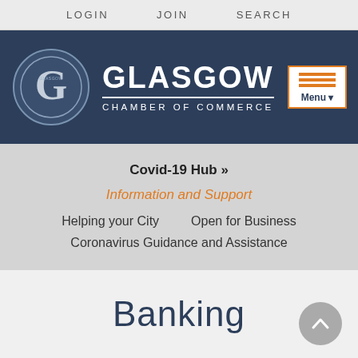LOGIN   JOIN   SEARCH
[Figure (logo): Glasgow Chamber of Commerce logo with circular G emblem and text GLASGOW CHAMBER OF COMMERCE on dark navy background, with orange hamburger Menu button]
Covid-19 Hub »
Information and Support
Helping your City
Open for Business
Coronavirus Guidance and Assistance
Banking